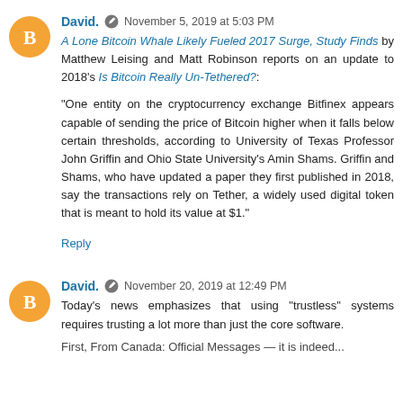David. November 5, 2019 at 5:03 PM
A Lone Bitcoin Whale Likely Fueled 2017 Surge, Study Finds by Matthew Leising and Matt Robinson reports on an update to 2018's Is Bitcoin Really Un-Tethered?:
"One entity on the cryptocurrency exchange Bitfinex appears capable of sending the price of Bitcoin higher when it falls below certain thresholds, according to University of Texas Professor John Griffin and Ohio State University's Amin Shams. Griffin and Shams, who have updated a paper they first published in 2018, say the transactions rely on Tether, a widely used digital token that is meant to hold its value at $1."
Reply
David. November 20, 2019 at 12:49 PM
Today's news emphasizes that using "trustless" systems requires trusting a lot more than just the core software.
First, From Canada: Official Messages — it is indeed...